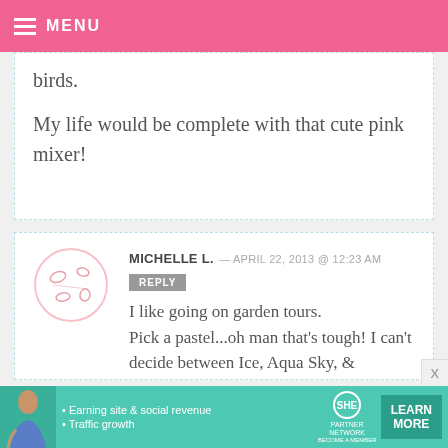MENU
birds.
My life would be complete with that cute pink mixer!
MICHELLE L. — APRIL 22, 2013 @ 12:23 AM
REPLY
I like going on garden tours.
Pick a pastel...oh man that’s tough! I can’t decide between Ice, Aqua Sky, & Pistachio.
[Figure (infographic): SHE Partner Network advertisement banner with photo, bullet points about Earning site & social revenue and Traffic growth, SHE logo, and LEARN MORE button]